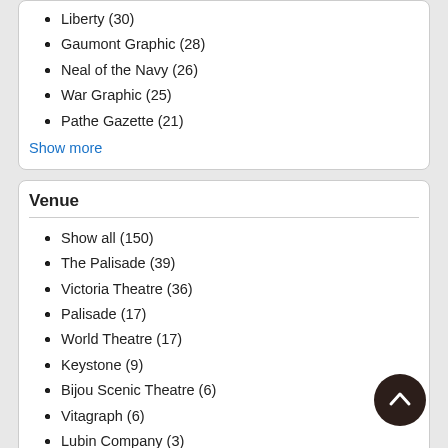Liberty (30)
Gaumont Graphic (28)
Neal of the Navy (26)
War Graphic (25)
Pathe Gazette (21)
Show more
Venue
Show all (150)
The Palisade (39)
Victoria Theatre (36)
Palisade (17)
World Theatre (17)
Keystone (9)
Bijou Scenic Theatre (6)
Vitagraph (6)
Lubin Company (3)
Nordisk (3)
Show more